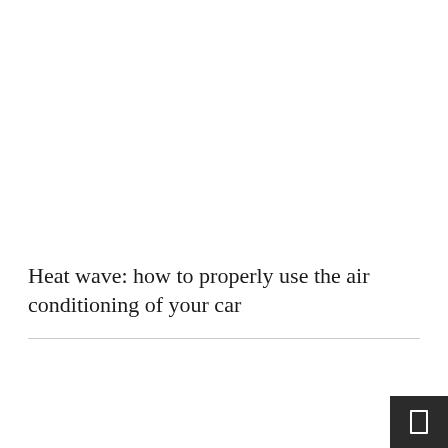Heat wave: how to properly use the air conditioning of your car